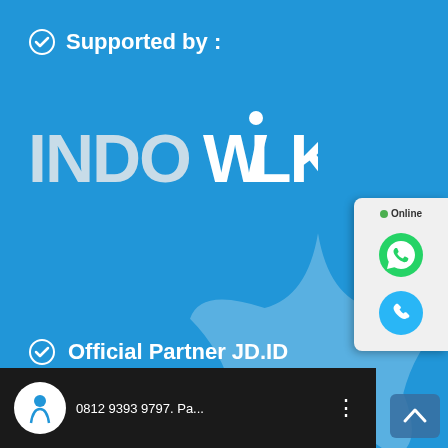Supported by :
[Figure (logo): IndoWalk logo in white and gray text on blue background]
Official Partner JD.ID
Video Wisata Ora Beach
[Figure (screenshot): Video thumbnail bar showing IndoWalk logo, phone number 0812 9393 9797. Pa... and a three-dot menu icon]
[Figure (infographic): Online chat widget on right side showing green WhatsApp icon and blue phone icon with Online status indicator]